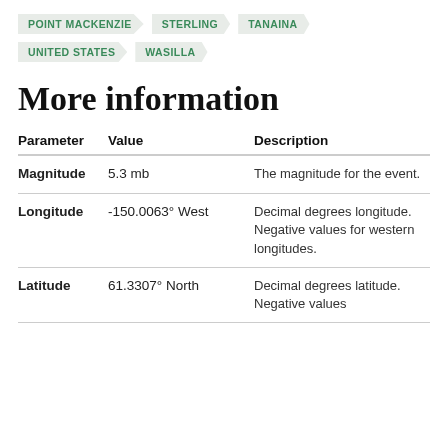POINT MACKENZIE
STERLING
TANAINA
UNITED STATES
WASILLA
More information
| Parameter | Value | Description |
| --- | --- | --- |
| Magnitude | 5.3 mb | The magnitude for the event. |
| Longitude | -150.0063° West | Decimal degrees longitude. Negative values for western longitudes. |
| Latitude | 61.3307° North | Decimal degrees latitude. Negative values |